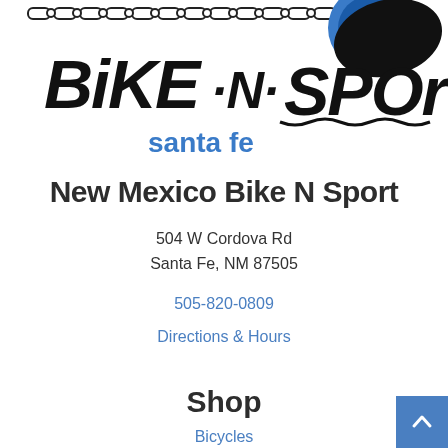[Figure (logo): Bike N Sport Santa Fe logo with bicycle chain, bold graffiti-style lettering 'BIKE N SPORT' in black and 'santa fe' in blue]
New Mexico Bike N Sport
504 W Cordova Rd
Santa Fe, NM 87505
505-820-0809
Directions & Hours
Shop
Bicycles